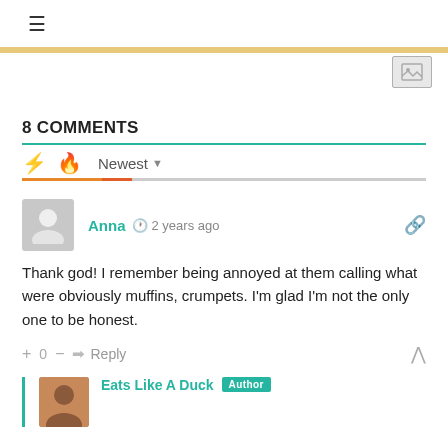≡
8 COMMENTS
Newest
Anna  2 years ago
Thank god! I remember being annoyed at them calling what were obviously muffins, crumpets. I'm glad I'm not the only one to be honest.
+ 0 — Reply
Eats Like A Duck  Author